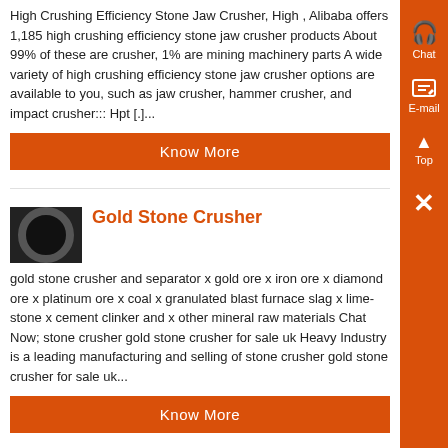High Crushing Efficiency Stone Jaw Crusher, High , Alibaba offers 1,185 high crushing efficiency stone jaw crusher products About 99% of these are crusher, 1% are mining machinery parts A wide variety of high crushing efficiency stone jaw crusher options are available to you, such as jaw crusher, hammer crusher, and impact crusher::: Hpt [.]...
Know More
Gold Stone Crusher
gold stone crusher and separator x gold ore x iron ore x diamond ore x platinum ore x coal x granulated blast furnace slag x lime- stone x cement clinker and x other mineral raw materials Chat Now; stone crusher gold stone crusher for sale uk Heavy Industry is a leading manufacturing and selling of stone crusher gold stone crusher for sale uk...
Know More
Hammer Machine For Crushing Stones Gold Mining